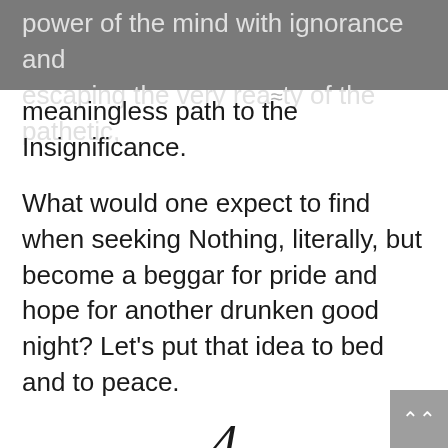power of the mind with ignorance and escaping the very reality of the pathetic,
meaningless path to the Insignificance.
What would one expect to find when seeking Nothing, literally, but become a beggar for pride and hope for another drunken good night? Let’s put that idea to bed and to peace.
4
It could be the inability to be strong and embrace weakness in the face of challenges that brings people down, and conversely, the question of why tragedy and